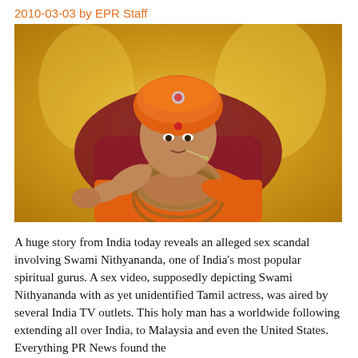2010-03-03 by EPR Staff
[Figure (photo): Photo of Swami Nithyananda wearing orange turban with silver decoration, orange robes, multiple bead necklaces, pointing finger, seated on ornate gold and red throne background.]
A huge story from India today reveals an alleged sex scandal involving Swami Nithyananda, one of India's most popular spiritual gurus. A sex video, supposedly depicting Swami Nithyananda with as yet unidentified Tamil actress, was aired by several India TV outlets. This holy man has a worldwide following extending all over India, to Malaysia and even the United States. Everything PR News found the original Sun TV broadcast (below). Amongst the Swami's...